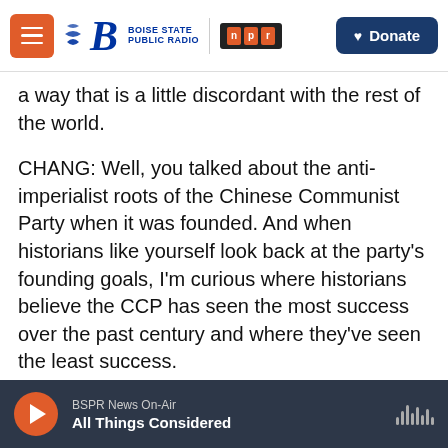Boise State Public Radio | NPR | Donate
a way that is a little discordant with the rest of the world.
CHANG: Well, you talked about the anti-imperialist roots of the Chinese Communist Party when it was founded. And when historians like yourself look back at the party's founding goals, I'm curious where historians believe the CCP has seen the most success over the past century and where they've seen the least success.
LIU: From the beginning of the establishment of the PRC, the party had this kind of contradiction, right?
BSPR News On-Air | All Things Considered